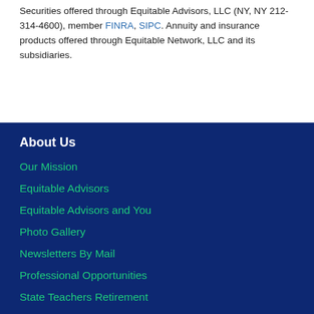Securities offered through Equitable Advisors, LLC (NY, NY 212-314-4600), member FINRA, SIPC. Annuity and insurance products offered through Equitable Network, LLC and its subsidiaries.
About Us
Our Mission
Equitable Advisors
Equitable Advisors and You
Photo Gallery
Newsletters By Mail
Professional Opportunities
State Teachers Retirement